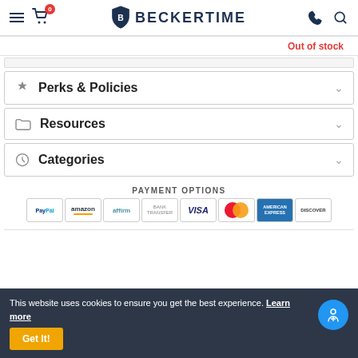BECKERTIME — navigation header with hamburger menu, cart (0), logo, phone, and search icons
Out of stock
Perks & Policies
Resources
Categories
PAYMENT OPTIONS
[Figure (other): Payment option logos: PayPal, Amazon, Affirm, Bank Transfer, Visa, MasterCard, American Express, Discover]
This website uses cookies to ensure you get the best experience. Learn more